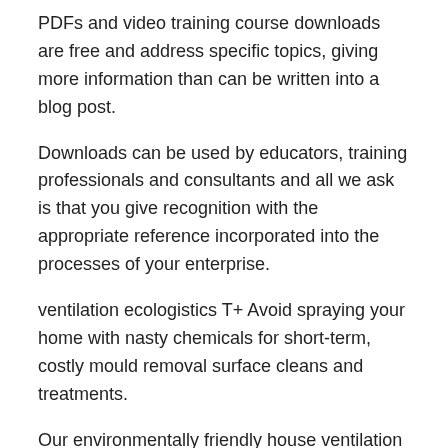PDFs and video training course downloads are free and address specific topics, giving more information than can be written into a blog post.
Downloads can be used by educators, training professionals and consultants and all we ask is that you give recognition with the appropriate reference incorporated into the processes of your enterprise.
ventilation ecologistics T+ Avoid spraying your home with nasty chemicals for short-term, costly mould removal surface cleans and treatments.
Our environmentally friendly house ventilation solutions are designed to be installed efficiently, and last for the long-term. ecologistics ltd. Sofia 1A Sv. Georgi Pobedonosets Str. Kremikovtsi T: + 2 17 61 F: + 2 17 63 @: info@ "Ecologistics". COVID Resources.
Reliable information about the coronavirus (COVID) is available from the World Health Organization (current situation, international travel).Numerous and frequently-updated resource results are